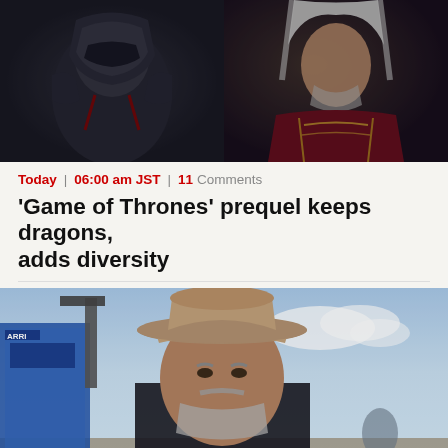[Figure (photo): Two side-by-side photos: left shows a person in dark medieval armor/helmet, right shows a person with long white/silver hair wearing ornate dark robes with gold embroidery]
Today | 06:00 am JST | 11 Comments
'Game of Thrones' prequel keeps dragons, adds diversity
[Figure (photo): A man wearing a tan/beige cowboy hat with gray beard, standing outdoors near film equipment against a blue sky background]